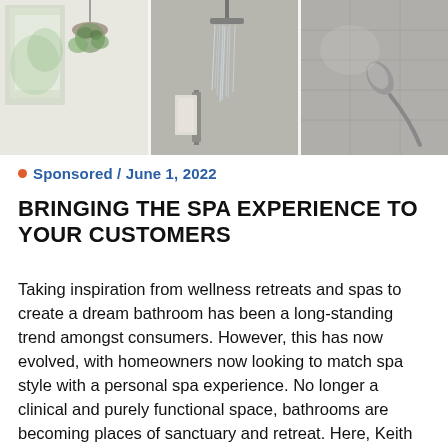[Figure (photo): Three-panel bathroom photo strip showing: left panel with a hanging plant-filled basket near a bright window, center panel with a rain shower head with cascading water and towels on a rack, right panel with a handheld shower head against grey stone-effect tiles.]
• Sponsored / June 1, 2022
BRINGING THE SPA EXPERIENCE TO YOUR CUSTOMERS
Taking inspiration from wellness retreats and spas to create a dream bathroom has been a long-standing trend amongst consumers. However, this has now evolved, with homeowners now looking to match spa style with a personal spa experience. No longer a clinical and purely functional space, bathrooms are becoming places of sanctuary and retreat. Here, Keith [...]